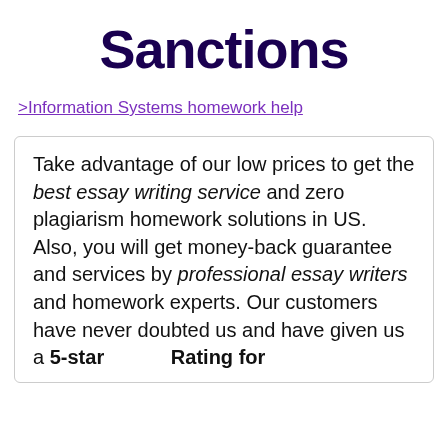Sanctions
>Information Systems homework help
Take advantage of our low prices to get the best essay writing service and zero plagiarism homework solutions in US. Also, you will get money-back guarantee and services by professional essay writers and homework experts. Our customers have never doubted us and have given us a 5-star          Rating for